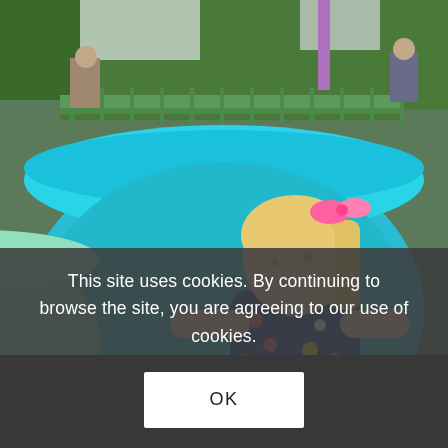[Figure (photo): A young blonde girl wearing a colorful floral dress and pink hair bow sits inside a large turquoise teacup ride at what appears to be a Disneyland-style amusement park. She is reaching toward the spinning wheel in the center of the teacup. Green trees, fencing, and other park visitors are visible in the background.]
This site uses cookies. By continuing to browse the site, you are agreeing to our use of cookies.